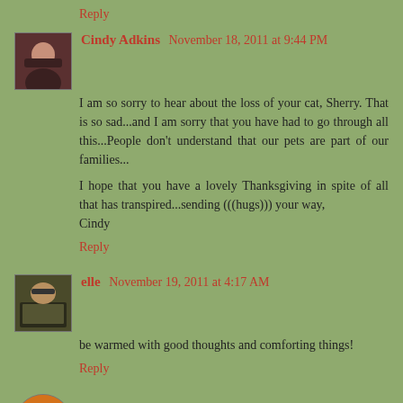Reply
Cindy Adkins  November 18, 2011 at 9:44 PM
I am so sorry to hear about the loss of your cat, Sherry. That is so sad...and I am sorry that you have had to go through all this...People don't understand that our pets are part of our families...

I hope that you have a lovely Thanksgiving in spite of all that has transpired...sending (((hugs))) your way,
Cindy
Reply
elle  November 19, 2011 at 4:17 AM
be warmed with good thoughts and comforting things!
Reply
Jillayne  November 19, 2011 at 7:56 AM